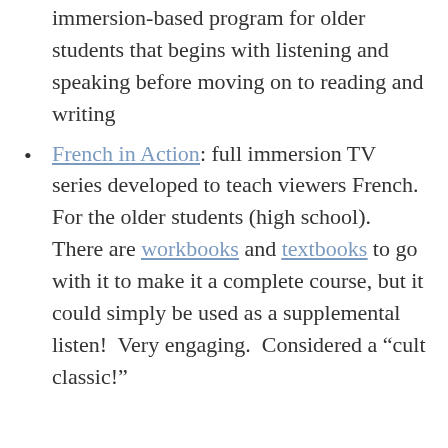immersion-based program for older students that begins with listening and speaking before moving on to reading and writing
French in Action: full immersion TV series developed to teach viewers French. For the older students (high school). There are workbooks and textbooks to go with it to make it a complete course, but it could simply be used as a supplemental listen! Very engaging. Considered a “cult classic!”